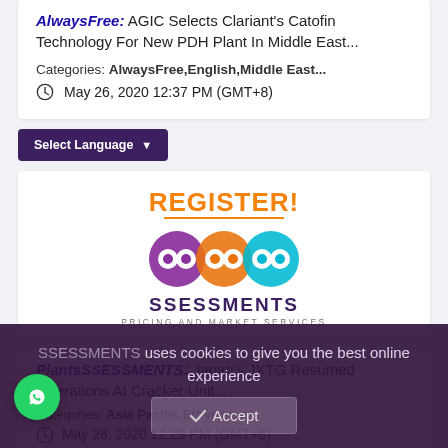AlwaysFree: AGIC Selects Clariant's Catofin Technology For New PDH Plant In Middle East...
Categories: AlwaysFree,English,Middle East...
May 26, 2020 12:37 PM (GMT+8)
Select Language
[Figure (logo): REGISTER! text in orange above the SSESSMENTS logo — infinity-loop icon with purple, orange, and cyan circles, with text SSESSMENTS PRICING AND MARKET SERVICES]
PlantsSSESSMENTS: Japan's JXTG Resumed Operations At Cracker Unit...
Categories: Asia Pacific,Ethylene...
May 26, 2020 12:29 PM (GMT+8)
SSESSMENTS uses cookies to give you the best online experience
Accept